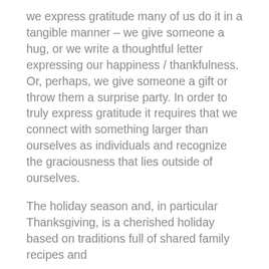we express gratitude many of us do it in a tangible manner – we give someone a hug, or we write a thoughtful letter expressing our happiness / thankfulness. Or, perhaps, we give someone a gift or throw them a surprise party. In order to truly express gratitude it requires that we connect with something larger than ourselves as individuals and recognize the graciousness that lies outside of ourselves.
The holiday season and, in particular Thanksgiving, is a cherished holiday based on traditions full of shared family recipes and